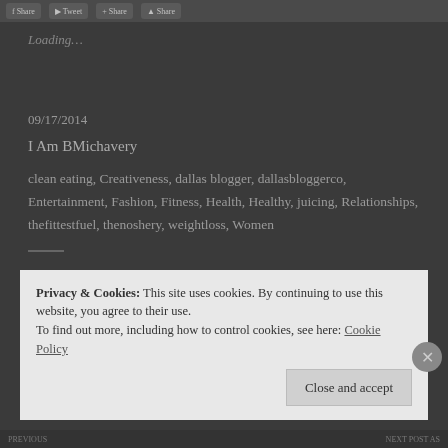[Figure (screenshot): Top bar with social share buttons]
Loading...
09/17/2014
I Am BMichavery
clean eating, Creativeness, dallas blogger, dallasbloggerco, Entertainment, Fashion, Fitness, Health, Healthy, juicing, Relationships, thefittestfuel, thenoshery, weightloss, Women
Related
Privacy & Cookies: This site uses cookies. By continuing to use this website, you agree to their use.
To find out more, including how to control cookies, see here: Cookie Policy
Close and accept